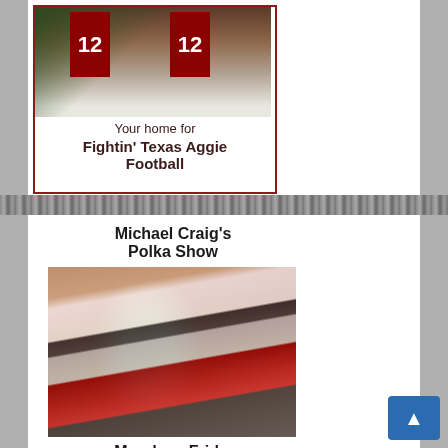[Figure (photo): Advertisement box with photo of Texas A&M stadium exterior showing maroon number 12 banners on the building facade, with text 'Your home for Fightin' Texas Aggie Football']
Your home for Fightin' Texas Aggie Football
Michael Craig's Polka Show
[Figure (photo): Photo of Michael Craig, a bearded man wearing headphones and a white shirt, sitting at a radio broadcast console with mixing equipment]
Monday - Friday 11 am - 12 pm